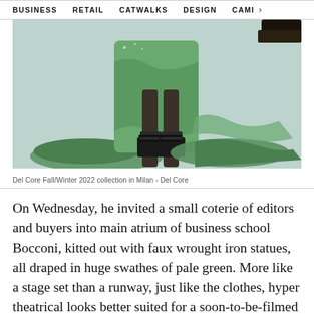BUSINESS   RETAIL   CATWALKS   DESIGN   CAMI >
[Figure (photo): Del Core Fall/Winter 2022 fashion show photo showing the lower half of a model wearing a large green draped garment and black platform shoes with straps, on a light blue-grey floor.]
Del Core Fall/Winter 2022 collection in Milan - Del Core
On Wednesday, he invited a small coterie of editors and buyers into main atrium of business school Bocconi, kitted out with faux wrought iron statues, all draped in huge swathes of pale green. More like a stage set than a runway, just like the clothes, hyper theatrical looks better suited for a soon-to-be-filmed movie about futurist